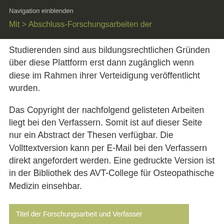Navigation einblenden
Studierenden sind aus bildungsrechtlichen Gründen über diese Plattform erst dann zugänglich wenn diese im Rahmen ihrer Verteidigung veröffentlicht wurden.
Das Copyright der nachfolgend gelisteten Arbeiten liegt bei den Verfassern. Somit ist auf dieser Seite nur ein Abstract der Thesen verfügbar. Die Vollttextversion kann per E-Mail bei den Verfassern direkt angefordert werden. Eine gedruckte Version ist in der Bibliothek des AVT-College für Osteopathische Medizin einsehbar.
Titel der Forschungsarbeit und Verfasser